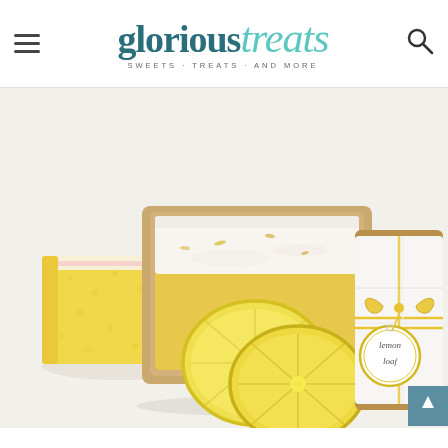glorious treats — SWEETS · TREATS · AND MORE
[Figure (photo): Overhead flat-lay photo of lemon loaf cakes on a white background. A sliced lemon loaf with white glaze is in a kraft paper baking pan in the center. A thick slice of yellow lemon cake with pink glaze sits to the left. Two lemon slices are in the foreground center. On the right, a mini lemon loaf is wrapped in white paper and tied with yellow and white baker's twine, with a round gift tag that reads 'lemon loaf' in handwritten script.]